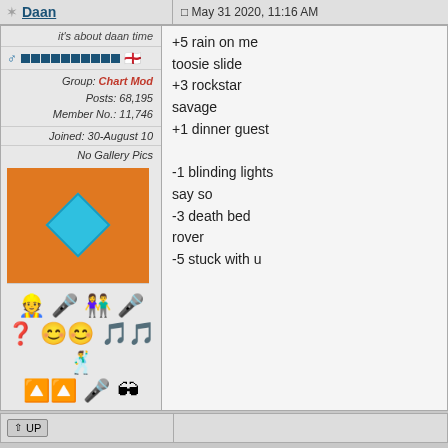Daan | May 31 2020, 11:16 AM
it's about daan time
Group: Chart Mod | Posts: 68,195 | Member No.: 11,746
Joined: 30-August 10
No Gallery Pics
[Figure (illustration): Orange square with a blue diamond shape in the center]
[Figure (illustration): Row of emojis: construction worker, singer, couple dancing, singing woman, red question mark, smiling faces, musical notes, dancer, up arrow with colors, microphone, person with sunglasses]
+5 rain on me
toosie slide
+3 rockstar
savage
+1 dinner guest

-1 blinding lights
say so
-3 death bed
rover
-5 stuck with u
↑ UP
Bjork | May 31 2020, 11:28 AM